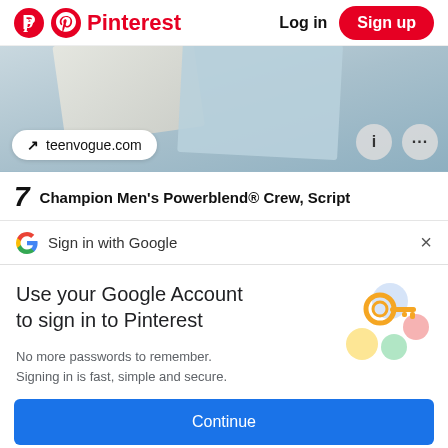Pinterest — Log in | Sign up
[Figure (screenshot): Fabric/textile image with teenvogue.com source badge and info/more icons]
7  Champion Men's Powerblend® Crew, Script
Sign in with Google  ×
Use your Google Account to sign in to Pinterest
No more passwords to remember. Signing in is fast, simple and secure.
[Figure (illustration): Google key illustration with colorful circles]
Continue